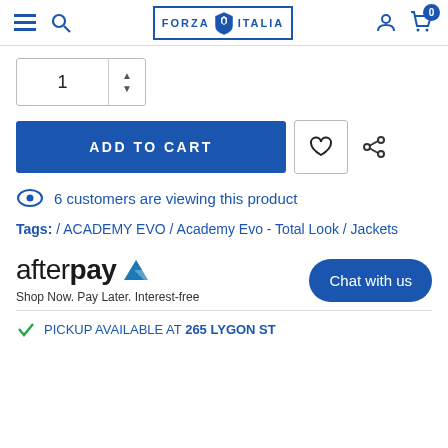[Figure (logo): Forza Italia website header navigation bar with hamburger menu, search icon, Forza Italia logo, user icon, and cart icon showing 0 items]
[Figure (screenshot): Quantity selector showing value 1 with up/down arrows]
ADD TO CART
6 customers are viewing this product
Tags: / ACADEMY EVO / Academy Evo - Total Look / Jackets
[Figure (logo): Afterpay logo with blue chevron arrow icon]
Shop Now. Pay Later. Interest-free
Chat with us
PICKUP AVAILABLE AT 265 LYGON ST